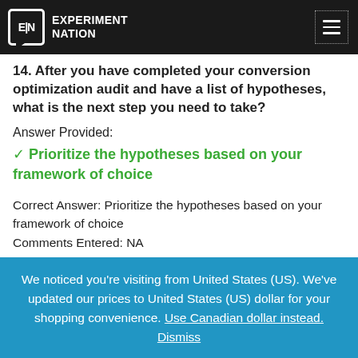EXPERIMENT NATION [logo]
14. After you have completed your conversion optimization audit and have a list of hypotheses, what is the next step you need to take?
Answer Provided:
✓ Prioritize the hypotheses based on your framework of choice
Correct Answer: Prioritize the hypotheses based on your framework of choice
Comments Entered: NA
We noticed you're visiting from United States (US). We've updated our prices to United States (US) dollar for your shopping convenience. Use Canadian dollar instead. Dismiss